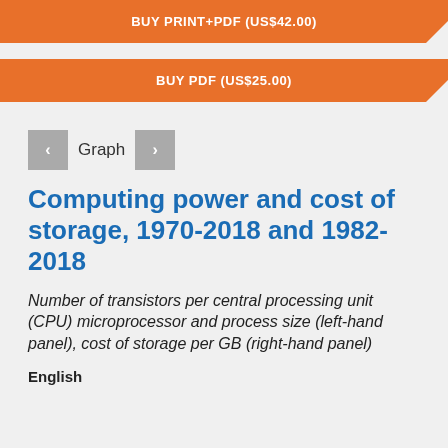BUY PRINT+PDF (US$42.00)
BUY PDF (US$25.00)
< Graph >
Computing power and cost of storage, 1970-2018 and 1982-2018
Number of transistors per central processing unit (CPU) microprocessor and process size (left-hand panel), cost of storage per GB (right-hand panel)
English